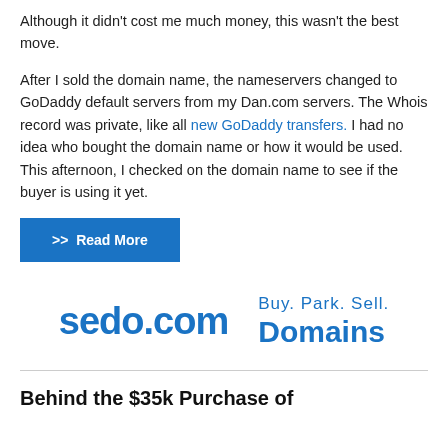Although it didn't cost me much money, this wasn't the best move.
After I sold the domain name, the nameservers changed to GoDaddy default servers from my Dan.com servers. The Whois record was private, like all new GoDaddy transfers. I had no idea who bought the domain name or how it would be used. This afternoon, I checked on the domain name to see if the buyer is using it yet.
>> Read More
[Figure (logo): Sedo.com banner advertisement with logo and tagline 'Buy. Park. Sell. Domains']
Behind the $35k Purchase of